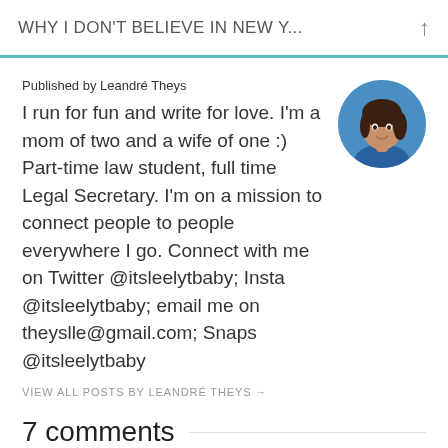WHY I DON'T BELIEVE IN NEW Y...
Published by Leandré Theys
I run for fun and write for love. I'm a mom of two and a wife of one :) Part-time law student, full time Legal Secretary. I'm on a mission to connect people to people everywhere I go. Connect with me on Twitter @itsleelytbaby; Insta @itsleelytbaby; email me on theyslle@gmail.com; Snaps @itsleelytbaby
VIEW ALL POSTS BY LEANDRÉ THEYS →
7 comments
Celeste   JANUARY 10, 2018 AT 10:26 PM